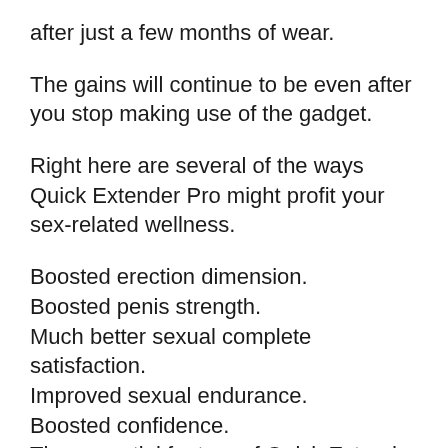after just a few months of wear.
The gains will continue to be even after you stop making use of the gadget.
Right here are several of the ways Quick Extender Pro might profit your sex-related wellness.
Boosted erection dimension.
Boosted penis strength.
Much better sexual complete satisfaction.
Improved sexual endurance.
Boosted confidence.
The essential feature of Quick Extender Pro is a dual strap assistance to raise your convenience and also to enhance the quantity of stress versus your penis.